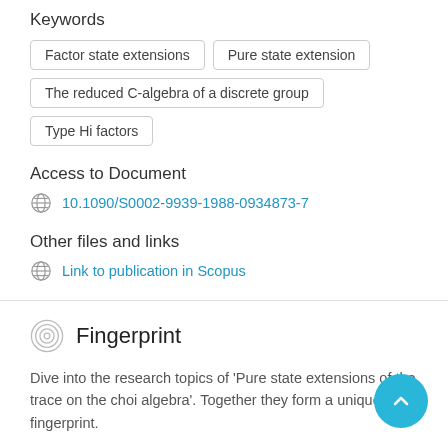Keywords
Factor state extensions
Pure state extension
The reduced C-algebra of a discrete group
Type Hi factors
Access to Document
10.1090/S0002-9939-1988-0934873-7
Other files and links
Link to publication in Scopus
Fingerprint
Dive into the research topics of 'Pure state extensions of the trace on the choi algebra'. Together they form a unique fingerprint.